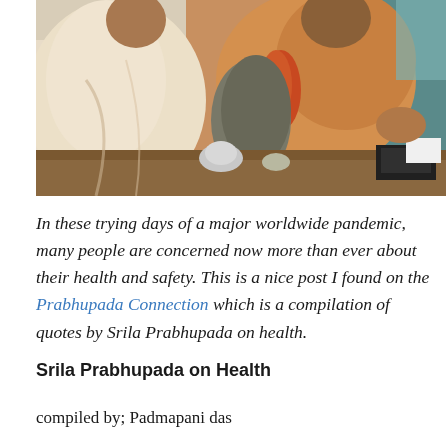[Figure (photo): Photograph of Srila Prabhupada seated, wearing traditional saffron robes and garlands, gesturing with his right hand, with objects on a table in the foreground]
In these trying days of a major worldwide pandemic, many people are concerned now more than ever about their health and safety. This is a nice post I found on the Prabhupada Connection which is a compilation of quotes by Srila Prabhupada on health.
Srila Prabhupada on Health
compiled by; Padmapani das